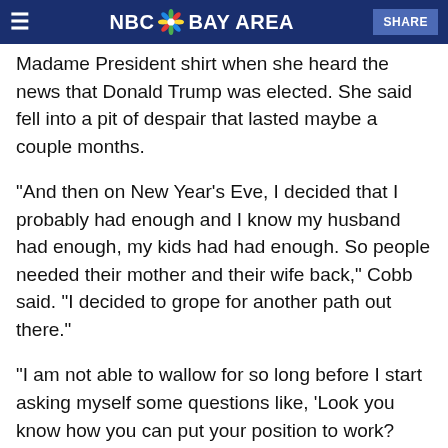NBC Bay Area - SHARE
Madame President shirt when she heard the news that Donald Trump was elected. She said fell into a pit of despair that lasted maybe a couple months.
"And then on New Year's Eve, I decided that I probably had enough and I know my husband had enough, my kids had had enough. So people needed their mother and their wife back," Cobb said. "I decided to grope for another path out there."
"I am not able to wallow for so long before I start asking myself some questions like, 'Look you know how you can put your position to work? How can you put your resources to work?'" Cobb said.
She and her family cut their personal carbon emissions 80%. She bought flowers, copper...